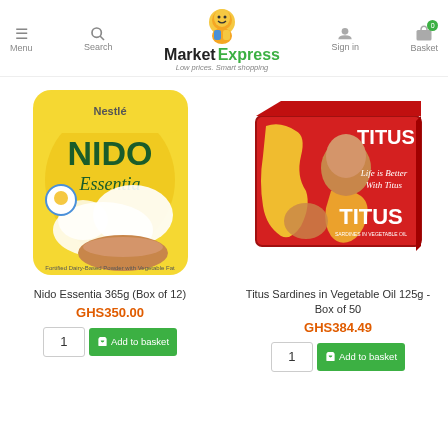Market Express – Low prices. Smart shopping. Menu | Search | Sign in | Basket (0)
[Figure (photo): Nestlé Nido Essentia powdered milk product bag, yellow packaging with white milk splash]
Nido Essentia 365g (Box of 12)
GHS350.00
1  Add to basket
[Figure (photo): Titus Sardines in Vegetable Oil red box of 50 cans, with Africa map artwork and 'Life is Better With Titus' text]
Titus Sardines in Vegetable Oil 125g - Box of 50
GHS384.49
1  Add to basket